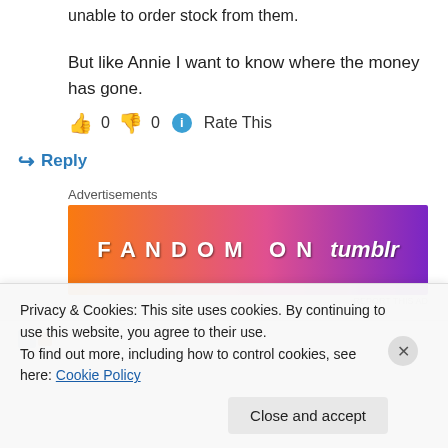unable to order stock from them.
But like Annie I want to know where the money has gone.
👍 0 👎 0 ℹ Rate This
↪ Reply
Advertisements
[Figure (other): Fandom on Tumblr advertisement banner with orange-to-purple gradient]
Privacy & Cookies: This site uses cookies. By continuing to use this website, you agree to their use. To find out more, including how to control cookies, see here: Cookie Policy
Close and accept